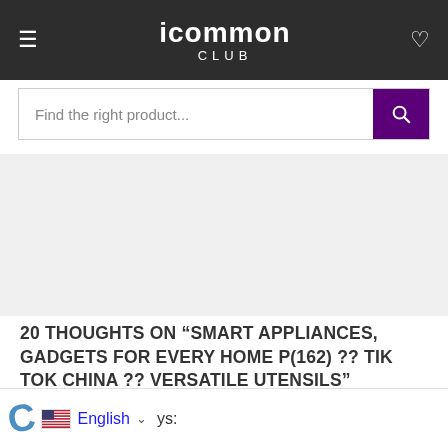icommon CLUB
[Figure (screenshot): Search bar with placeholder text 'Find the right product...' and a purple search button with magnifying glass icon]
20 THOUGHTS ON “SMART APPLIANCES, GADGETS FOR EVERY HOME P(162) ?? TIK TOK CHINA ?? VERSATILE UTENSILS”
English ys: